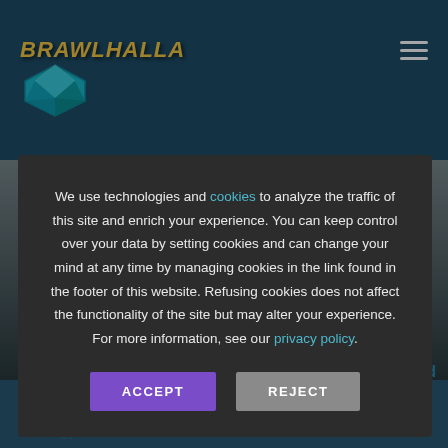[Figure (logo): Brawlhalla logo with stylized yellow italic text and a teal gem/diamond icon below]
We use technologies and cookies to analyze the traffic of this site and enrich your experience. You can keep control over your data by setting cookies and can change your mind at any time by managing cookies in the link found in the footer of this website. Refusing cookies does not affect the functionality of the site but may alter your experience. For more information, see our privacy policy.
ACCEPT
REJECT
Options, Balance, and
Magyar Skin! – Patch 6.10